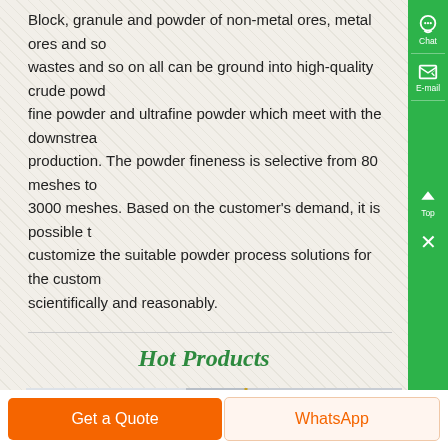Block, granule and powder of non-metal ores, metal ores and so wastes and so on all can be ground into high-quality crude powder, fine powder and ultrafine powder which meet with the downstream production. The powder fineness is selective from 80 meshes to 3000 meshes. Based on the customer's demand, it is possible to customize the suitable powder process solutions for the customer scientifically and reasonably.
Hot Products
[Figure (photo): Industrial grinding/milling machine equipment in a factory setting, dark machinery with crane hook visible in background]
Get a Quote
WhatsApp